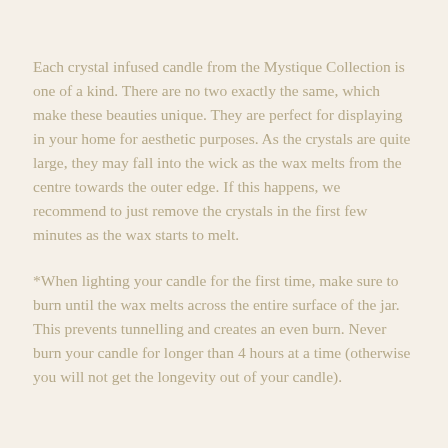Each crystal infused candle from the Mystique Collection is one of a kind. There are no two exactly the same, which make these beauties unique. They are perfect for displaying in your home for aesthetic purposes. As the crystals are quite large, they may fall into the wick as the wax melts from the centre towards the outer edge. If this happens, we recommend to just remove the crystals in the first few minutes as the wax starts to melt.
*When lighting your candle for the first time, make sure to burn until the wax melts across the entire surface of the jar. This prevents tunnelling and creates an even burn. Never burn your candle for longer than 4 hours at a time (otherwise you will not get the longevity out of your candle).